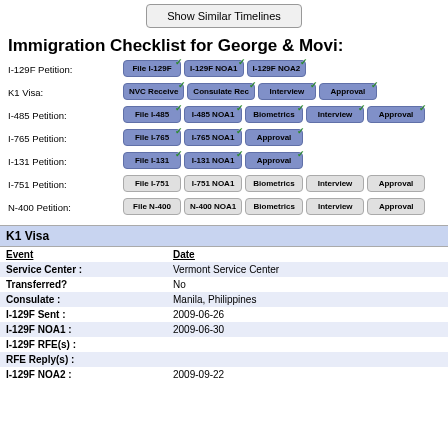Show Similar Timelines
Immigration Checklist for George & Movi:
[Figure (infographic): Immigration checklist status tracker showing rows for I-129F Petition, K1 Visa, I-485 Petition, I-765 Petition, I-131 Petition, I-751 Petition, and N-400 Petition with step buttons (File, NOA1, NOA2, Interview, Approval, etc.) colored blue for completed steps and gray for pending steps, with checkmarks on completed steps.]
| Event | Date |
| --- | --- |
| Service Center : | Vermont Service Center |
| Transferred? | No |
| Consulate : | Manila, Philippines |
| I-129F Sent : | 2009-06-26 |
| I-129F NOA1 : | 2009-06-30 |
| I-129F RFE(s) : |  |
| RFE Reply(s) : |  |
| I-129F NOA2 : | 2009-09-22 |